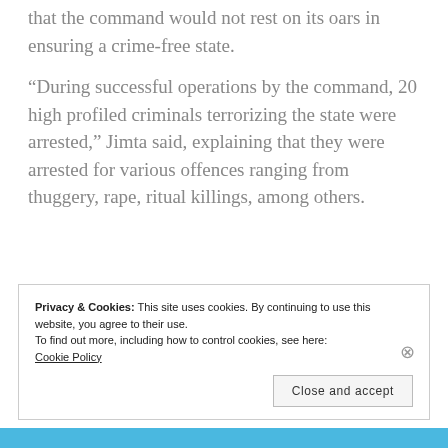that the command would not rest on its oars in ensuring a crime-free state.
“During successful operations by the command, 20 high profiled criminals terrorizing the state were arrested,” Jimta said, explaining that they were arrested for various offences ranging from thuggery, rape, ritual killings, among others.
Privacy & Cookies: This site uses cookies. By continuing to use this website, you agree to their use.
To find out more, including how to control cookies, see here:
Cookie Policy